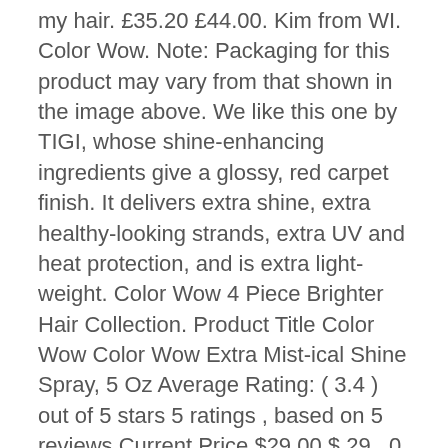my hair. £35.20 £44.00. Kim from WI. Color Wow. Note: Packaging for this product may vary from that shown in the image above. We like this one by TIGI, whose shine-enhancing ingredients give a glossy, red carpet finish. It delivers extra shine, extra healthy-looking strands, extra UV and heat protection, and is extra light-weight. Color Wow 4 Piece Brighter Hair Collection. Product Title Color Wow Color Wow Extra Mist-ical Shine Spray, 5 Oz Average Rating: ( 3.4 ) out of 5 stars 5 ratings , based on 5 reviews Current Price $29.00 $ 29 . 0 Reviews. Omg! It works by protecting your locks against heat from styling tools or UV light. I used Shine Amour for the first time on my 2009 Honda Accord which now looks showroom new. £25.00. AVEDA PureFume Shine Spray: rated 3 out of 5 on MakeupAlley. I have fine, slightly wavy hair that frizzes immensely in the Midwest humidity. Try Today